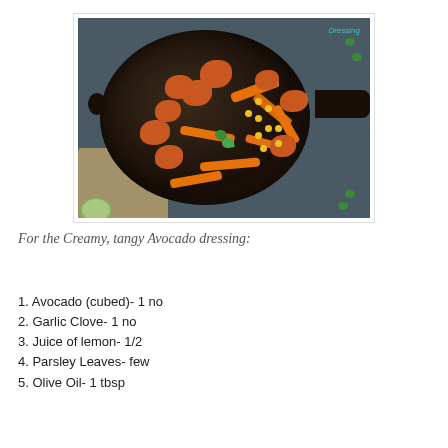[Figure (photo): Overhead view of a cast iron skillet with roasted cauliflower, carrot strips, corn kernels, and herb garnish on a blue-grey background with burlap cloth. A small green avocado dressing bowl is visible at bottom left. The text 'Dressing' appears in teal in the top-right of the image.]
For the Creamy, tangy Avocado dressing:
1. Avocado (cubed)- 1 no
2. Garlic Clove- 1 no
3. Juice of lemon- 1/2
4. Parsley Leaves- few
5. Olive Oil- 1 tbsp